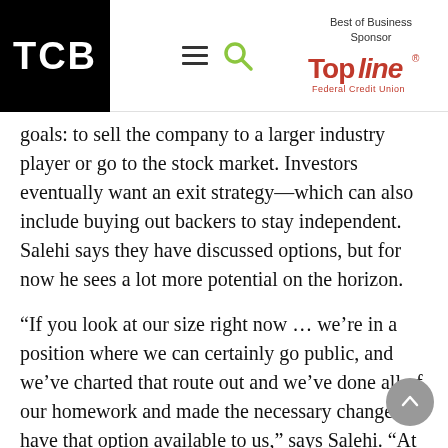TCB | Best of Business Sponsor | TopLine Federal Credit Union
goals: to sell the company to a larger industry player or go to the stock market. Investors eventually want an exit strategy—which can also include buying out backers to stay independent. Salehi says they have discussed options, but for now he sees a lot more potential on the horizon.
“If you look at our size right now … we’re in a position where we can certainly go public, and we’ve charted that route out and we’ve done all of our homework and made the necessary changes to have that option available to us,” says Salehi. “At some point we’re going to have to have that conversation: What do we